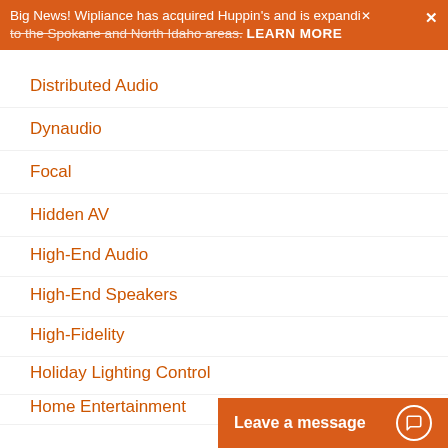Big News! Wipliance has acquired Huppin's and is expanding to the Spokane and North Idaho areas. LEARN MORE
Distributed Audio
Dynaudio
Focal
Hidden AV
High-End Audio
High-End Speakers
High-Fidelity
Holiday Lighting Control
Home Audio
Home Audio Specialist
Home Automation
Home Entertainment
Leave a message